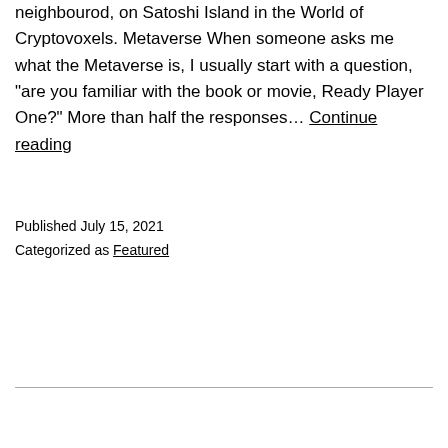neighbourod, on Satoshi Island in the World of Cryptovoxels. Metaverse When someone asks me what the Metaverse is, I usually start with a question, "are you familiar with the book or movie, Ready Player One?" More than half the responses… Continue reading
Published July 15, 2021
Categorized as Featured